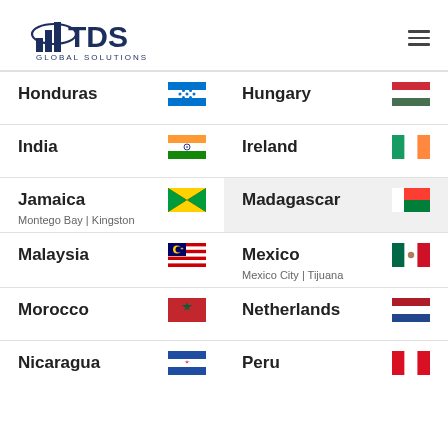[Figure (logo): TDS Global Solutions logo with bar chart icon and globe]
Honduras
Hungary
India
Ireland
Jamaica
Montego Bay | Kingston
Madagascar
Malaysia
Mexico
Mexico City | Tijuana
Morocco
Netherlands
Nicaragua
Peru